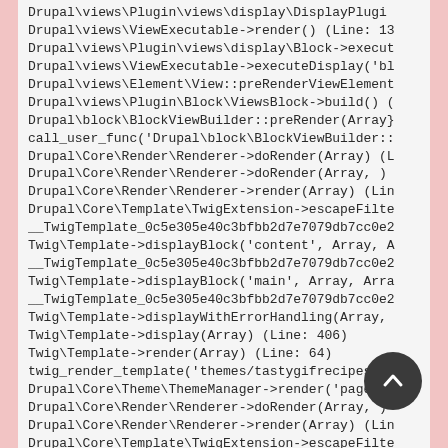Drupal\views\Plugin\views\display\DisplayPlugi
Drupal\views\ViewExecutable->render() (Line: 13
Drupal\views\Plugin\views\display\Block->execut
Drupal\views\ViewExecutable->executeDisplay('bl
Drupal\views\Element\View::preRenderViewElement
Drupal\views\Plugin\Block\ViewsBlock->build() (
Drupal\block\BlockViewBuilder::preRender(Array}
call_user_func('Drupal\block\BlockViewBuilder::
Drupal\Core\Render\Renderer->doRender(Array) (L
Drupal\Core\Render\Renderer->doRender(Array, )
Drupal\Core\Render\Renderer->render(Array) (Lin
Drupal\Core\Template\TwigExtension->escapeFilte
__TwigTemplate_0c5e305e40c3bfbb2d7e7079db7cc0e2
Twig\Template->displayBlock('content', Array, A
__TwigTemplate_0c5e305e40c3bfbb2d7e7079db7cc0e2
Twig\Template->displayBlock('main', Array, Arra
__TwigTemplate_0c5e305e40c3bfbb2d7e7079db7cc0e2
Twig\Template->displayWithErrorHandling(Array,
Twig\Template->display(Array) (Line: 406)
Twig\Template->render(Array) (Line: 64)
twig_render_template('themes/tastygifrecipes/te
Drupal\Core\Theme\ThemeManager->render('page
Drupal\Core\Render\Renderer->doRender(Array, )
Drupal\Core\Render\Renderer->render(Array) (Lin
Drupal\Core\Template\TwigExtension->escapeFilte